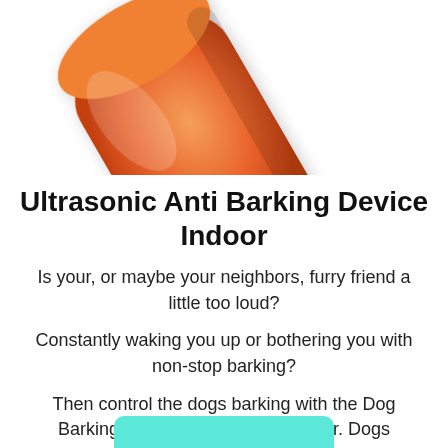[Figure (photo): Partial view of an orange and silver ultrasonic anti-barking device, showing the top portion of the product against a white background.]
Ultrasonic Anti Barking Device Indoor
Is your, or maybe your neighbors, furry friend a little too loud?
Constantly waking you up or bothering you with non-stop barking?
Then control the dogs barking with the Dog Barking Control Ultrasonic Speaker. Dogs Ultrasonic Anti-Barking Device
[Figure (other): Teal/cyan colored call-to-action button at the bottom of the page, partially visible.]